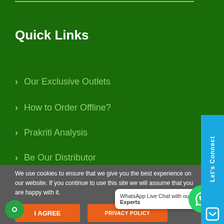Quick Links
Our Exclusive Outlets
How to Order Offline?
Prakriti Analysis
Be Our Distributor
Submit Your Articles
Our Product Catalog
We use cookies to ensure that we give you the best experience on our website. If you continue to use this site we will assume that you are happy with it.
WhatsApp Live Chat with our Experts